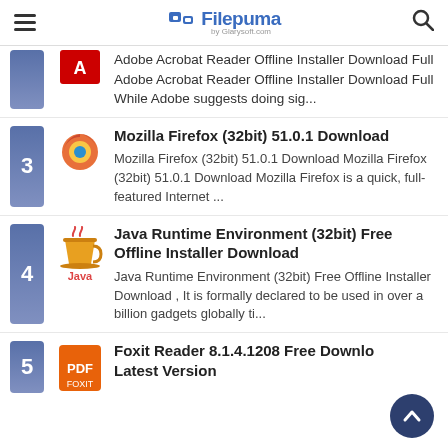Filepuma by Glarysoft.com
Adobe Acrobat Reader Offline Installer Download Full Adobe Acrobat Reader Offline Installer Download Full While Adobe suggests doing sig...
3 Mozilla Firefox (32bit) 51.0.1 Download — Mozilla Firefox (32bit) 51.0.1 Download Mozilla Firefox (32bit) 51.0.1 Download Mozilla Firefox is a quick, full-featured Internet ...
4 Java Runtime Environment (32bit) Free Offline Installer Download — Java Runtime Environment (32bit) Free Offline Installer Download , It is formally declared to be used in over a billion gadgets globally ti...
5 Foxit Reader 8.1.4.1208 Free Download Latest Version